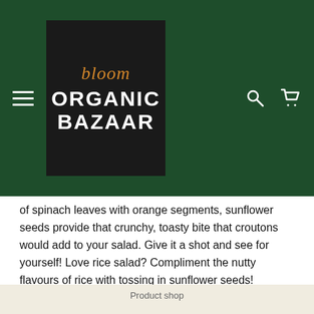[Figure (logo): Bloom Organic Bazaar logo: dark background with 'bloom' in orange italic and 'ORGANIC BAZAAR' in white bold capital letters]
of spinach leaves with orange segments, sunflower seeds provide that crunchy, toasty bite that croutons would add to your salad. Give it a shot and see for yourself! Love rice salad? Compliment the nutty flavours of rice with tossing in sunflower seeds!
HOW TO STORE YOUR ORGANIC SHELLED SUNFLOWER SEEDS: LOCK IN THAT FRESHNESS!
Store in a cool, dry place for up to 12 months.
Product shop